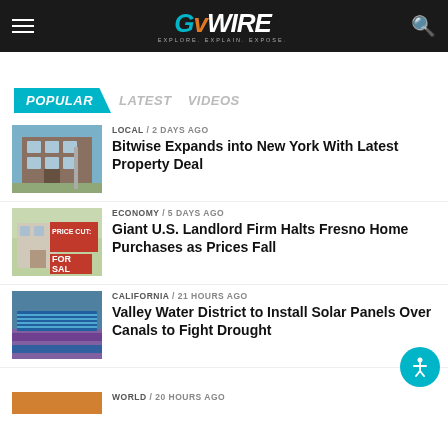GVWire - Explore. Explain. Expose.
POPULAR | LATEST | VIDEOS
[Figure (photo): Commercial brick building exterior]
LOCAL / 2 days ago
Bitwise Expands into New York With Latest Property Deal
[Figure (photo): For Sale sign with Price Cut text in front of house]
ECONOMY / 5 days ago
Giant U.S. Landlord Firm Halts Fresno Home Purchases as Prices Fall
[Figure (photo): Solar panels over canal]
CALIFORNIA / 21 hours ago
Valley Water District to Install Solar Panels Over Canals to Fight Drought
[Figure (photo): World news thumbnail]
WORLD / 20 hours ago